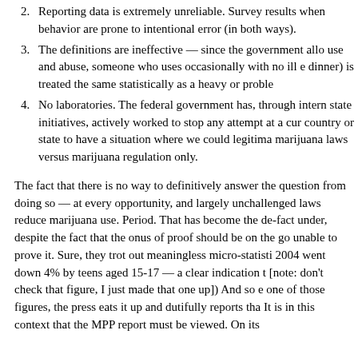2. Reporting data is extremely unreliable. Survey results when behavior are prone to intentional error (in both ways).
3. The definitions are ineffective — since the government allow use and abuse, someone who uses occasionally with no ill e... dinner) is treated the same statistically as a heavy or problem...
4. No laboratories. The federal government has, through intern state initiatives, actively worked to stop any attempt at a cur... country or state to have a situation where we could legitima... marijuana laws versus marijuana regulation only.
The fact that there is no way to definitively answer the question from doing so — at every opportunity, and largely unchallenged laws reduce marijuana use. Period. That has become the de-fact under, despite the fact that the onus of proof should be on the go unable to prove it. Sure, they trot out meaningless micro-statisti 2004 went down 4% by teens aged 15-17 — a clear indication t [note: don't check that figure, I just made that one up]) And so e one of those figures, the press eats it up and dutifully reports tha It is in this context that the MPP report must be viewed. On its